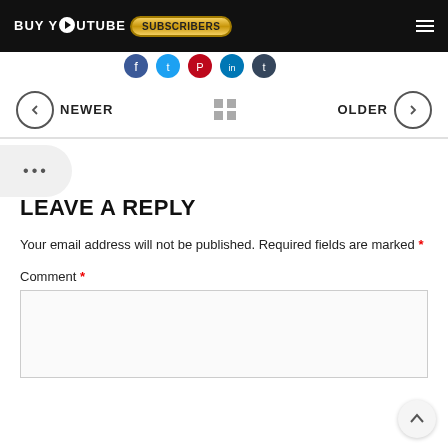BUY YOUTUBE SUBSCRIBERS
[Figure (illustration): Social media icons strip (Facebook, Twitter, Pinterest, LinkedIn, etc.)]
NEWER  [grid icon]  OLDER
...
LEAVE A REPLY
Your email address will not be published. Required fields are marked *
Comment *